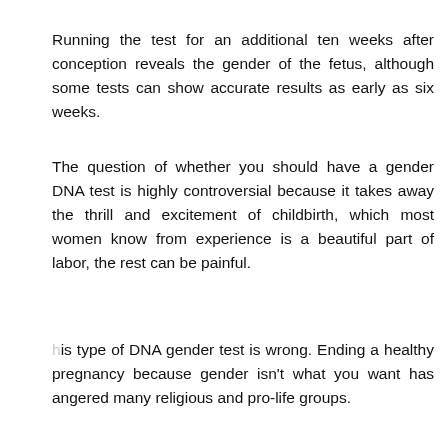Running the test for an additional ten weeks after conception reveals the gender of the fetus, although some tests can show accurate results as early as six weeks.
The question of whether you should have a gender DNA test is highly controversial because it takes away the thrill and excitement of childbirth, which most women know from experience is a beautiful part of labor, the rest can be painful.
[Figure (other): Social media share buttons: Facebook (blue), Google+ (red), Twitter (blue), and a plus/add button (dark)]
his type of DNA gender test is wrong. Ending a healthy pregnancy because gender isn't what you want has angered many religious and pro-life groups.
Choosing the gender of your baby can ultimately unbalance the creation of life, as some cultures and some people prefer boys over girls. This will lead to a less female population and